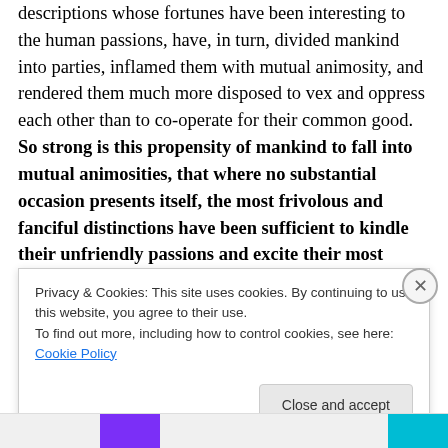descriptions whose fortunes have been interesting to the human passions, have, in turn, divided mankind into parties, inflamed them with mutual animosity, and rendered them much more disposed to vex and oppress each other than to co-operate for their common good. So strong is this propensity of mankind to fall into mutual animosities, that where no substantial occasion presents itself, the most frivolous and fanciful distinctions have been sufficient to kindle their unfriendly passions and excite their most violent ...
Privacy & Cookies: This site uses cookies. By continuing to use this website, you agree to their use.
To find out more, including how to control cookies, see here: Cookie Policy